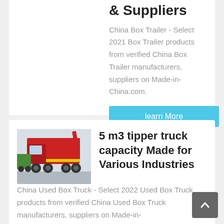& Suppliers
China Box Trailer - Select 2021 Box Trailer products from verified China Box Trailer manufacturers, suppliers on Made-in-China.com.
learn More
[Figure (photo): Red tipper/dump trucks loaded on a transport vehicle]
5 m3 tipper truck capacity Made for Various Industries
China Used Box Truck - Select 2022 Used Box Truck products from verified China Used Box Truck manufacturers, suppliers on Made-in-